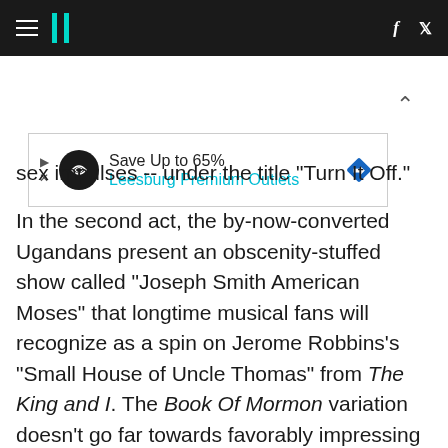HuffPost navigation header with hamburger menu, logo, Facebook and Twitter icons
[Figure (other): Advertisement banner: Save Up to 65% Leesburg Premium Outlets with directional diamond icon]
sex impulses -- under the title "Turn It Off."
In the second act, the by-now-converted Ugandans present an obscenity-stuffed show called "Joseph Smith American Moses" that longtime musical fans will recognize as a spin on Jerome Robbins's "Small House of Uncle Thomas" from The King and I. The Book Of Mormon variation doesn't go far towards favorably impressing the visiting mission president (Lewis Cleale), but it certainly grabs the audience by the lapels and won't let go. Earlier,